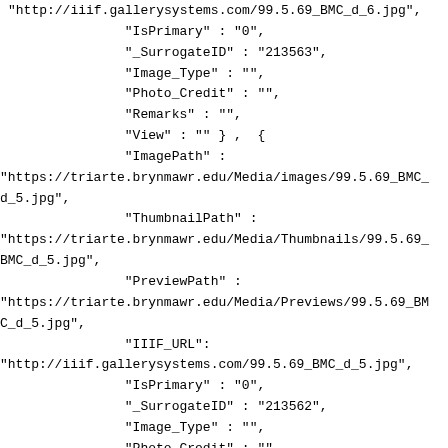"http://iiif.gallerysystems.com/99.5.69_BMC_d_6.jpg",
                "IsPrimary" : "0",
                "_SurrogateID" : "213563",
                "Image_Type" : "",
                "Photo_Credit" : "",
                "Remarks" : "",
                "View" : "" } ,  {
                "ImagePath" :
"https://triarte.brynmawr.edu/Media/images/99.5.69_BMC_d_5.jpg",
                "ThumbnailPath" :
"https://triarte.brynmawr.edu/Media/Thumbnails/99.5.69_BMC_d_5.jpg",
                "PreviewPath" :
"https://triarte.brynmawr.edu/Media/Previews/99.5.69_BMC_d_5.jpg",
                "IIIF_URL":
"http://iiif.gallerysystems.com/99.5.69_BMC_d_5.jpg",
                "IsPrimary" : "0",
                "_SurrogateID" : "213562",
                "Image_Type" : "",
                "Photo_Credit" : "",
                "Remarks" : "",
                "View" : "" } ,  {
                "ImagePath" :
"https://triarte.brynmawr.edu/Media/images/99.5.69_BMC_d_4.jpg",
                "ThumbnailPath" :
"https://triarte.brynmawr.edu/Media/Thumbnails/99.5.69_BMC_d_4.jpg",